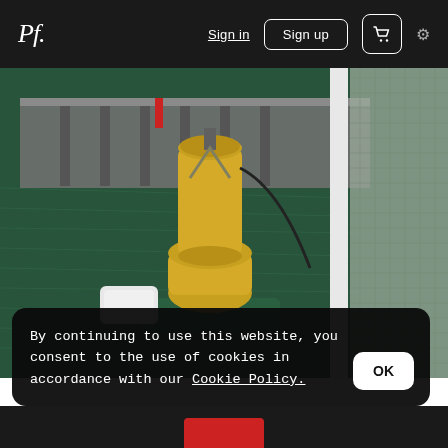Pf. | Sign in | Sign up | Cart | Settings
[Figure (photo): Close-up photo of a brass nautical ship bell/light fixture mounted on a green metal surface, with green harbor water and dock pilings visible in the background, and a metal mesh/grating visible on the right side.]
By continuing to use this website, you consent to the use of cookies in accordance with our Cookie Policy.